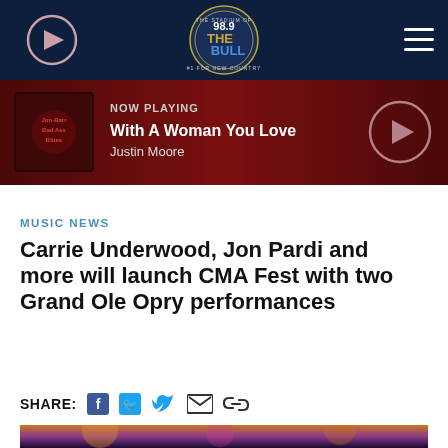[Figure (screenshot): Radio station navigation bar with play button, 98.9 The Bull logo, and hamburger menu on dark navy background]
[Figure (screenshot): Now Playing bar showing album art for Justin Moore, song title 'With A Woman You Love', artist name 'Justin Moore', and a play button on dark red background]
MUSIC NEWS
Carrie Underwood, Jon Pardi and more will launch CMA Fest with two Grand Ole Opry performances
SHARE:
[Figure (photo): Concert photo with orange and purple stage lighting, bottom portion visible]